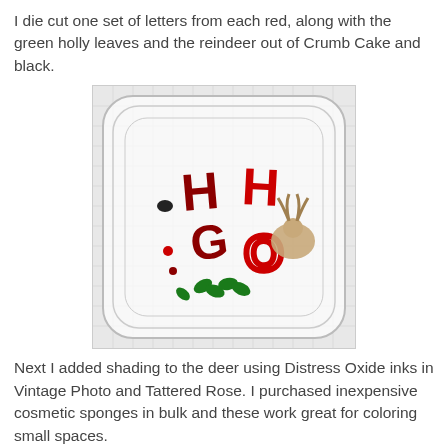I die cut one set of letters from each red, along with the green holly leaves and the reindeer out of Crumb Cake and black.
[Figure (photo): A clear plastic storage container with a grid-patterned lid containing die-cut letters and shapes in red, dark red, green, and tan/beige. The letters appear to spell 'HO' and include green holly leaves, a tan reindeer shape, and various red letter cutouts scattered inside the container.]
Next I added shading to the deer using Distress Oxide inks in Vintage Photo and Tattered Rose.  I purchased inexpensive cosmetic sponges in bulk and these work great for coloring small spaces.